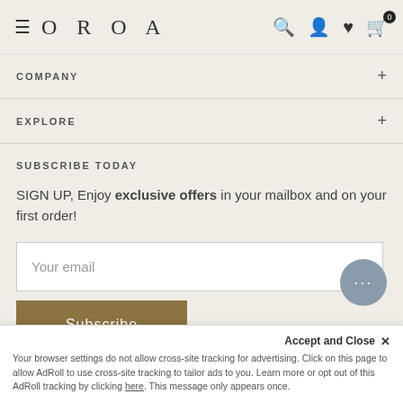OROA
COMPANY
EXPLORE
SUBSCRIBE TODAY
SIGN UP, Enjoy exclusive offers in your mailbox and on your first order!
Your email
Subscribe
Gray Oak Marble Console Table | Andrew Ma
Accept and Close ×
Your browser settings do not allow cross-site tracking for advertising. Click on this page to allow AdRoll to use cross-site tracking to tailor ads to you. Learn more or opt out of this AdRoll tracking by clicking here. This message only appears once.